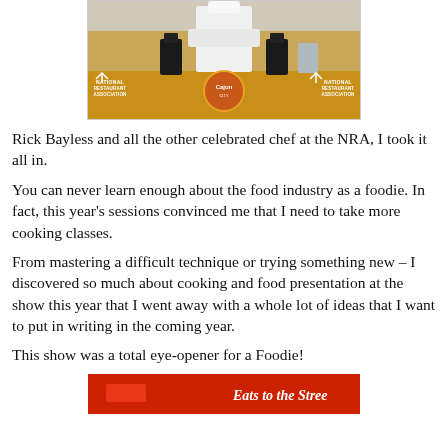[Figure (photo): Chef at a demonstration booth at the National Restaurant Association (NRA) show, with a golden yellow counter displaying NRA logos and a center emblem]
Rick Bayless and all the other celebrated chef at the NRA, I took it all in.
You can never learn enough about the food industry as a foodie. In fact, this year’s sessions convinced me that I need to take more cooking classes.
From mastering a difficult technique or trying something new – I discovered so much about cooking and food presentation at the show this year that I went away with a whole lot of ideas that I want to put in writing in the coming year.
This show was a total eye-opener for a Foodie!
[Figure (photo): Red banner/sign with text 'Eats to the Street' in white italic lettering]